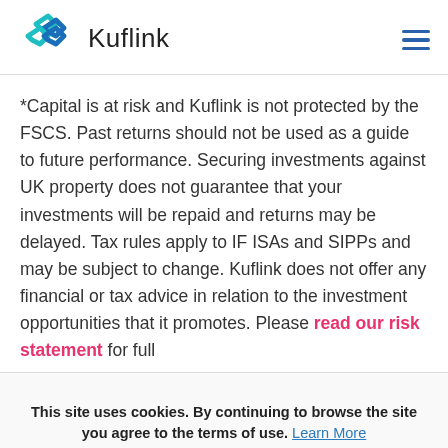Kuflink
*Capital is at risk and Kuflink is not protected by the FSCS. Past returns should not be used as a guide to future performance. Securing investments against UK property does not guarantee that your investments will be repaid and returns may be delayed. Tax rules apply to IF ISAs and SIPPs and may be subject to change. Kuflink does not offer any financial or tax advice in relation to the investment opportunities that it promotes. Please read our risk statement for full
This site uses cookies. By continuing to browse the site you agree to the terms of use. Learn More
OKAY